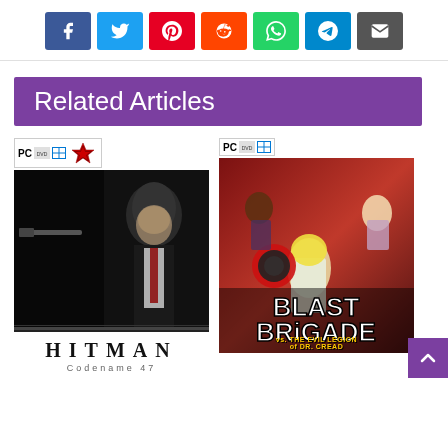[Figure (infographic): Social share buttons row: Facebook (blue), Twitter (light blue), Pinterest (red), Reddit (orange-red), WhatsApp (green), Telegram (blue), Email (dark gray)]
Related Articles
[Figure (photo): Hitman Codename 47 PC game cover showing a bald assassin in a dark suit with PC/DVD/Windows badges and the Hitman logo]
[Figure (photo): Blast Brigade vs. The Evil Legion of Dr. Cread PC game cover showing cartoon superhero characters on a red background with game title]